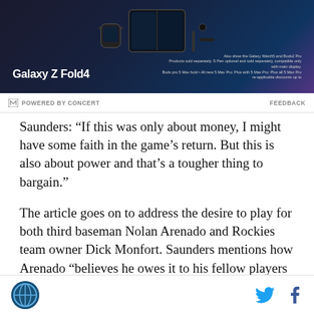[Figure (photo): Samsung Galaxy Z Fold4 advertisement banner showing the phone and accessories against a dark gradient background]
POWERED BY CONCERT   FEEDBACK
Saunders: “If this was only about money, I might have some faith in the game’s return. But this is also about power and that’s a tougher thing to bargain.”
The article goes on to address the desire to play for both third baseman Nolan Arenado and Rockies team owner Dick Monfort. Saunders mentions how Arenado “believes he owes it to his fellow players to walk in step with the union.” Saunders also doesn’t believe Monfort is one of the few owners that want the 2020 season canceled.